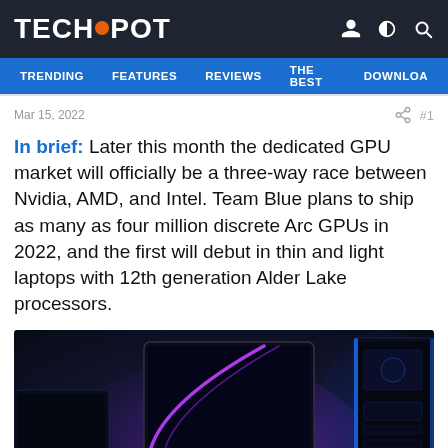TECHSPOT
TRENDING  FEATURES  REVIEWS  THE BEST  DOWNLOA
Mar 15, 2022
In brief: Later this month the dedicated GPU market will officially be a three-way race between Nvidia, AMD, and Intel. Team Blue plans to ship as many as four million discrete Arc GPUs in 2022, and the first will debut in thin and light laptops with 12th generation Alder Lake processors.
[Figure (photo): Photo of Intel Arc GPU products including a laptop and a desktop PC tower against a dark blue background with purple/blue lighting effects]